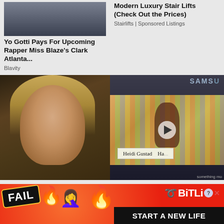[Figure (photo): Top-left article thumbnail: person in dark jacket]
Yo Gotti Pays For Upcoming Rapper Miss Blaze's Clark Atlanta...
Blavity
Modern Luxury Stair Lifts (Check Out the Prices)
Stairlifts | Sponsored Listings
[Figure (photo): Young blonde girl looking sideways in dark setting]
[Figure (screenshot): Video thumbnail with Samsung branding showing woman Heidi Gustad in craft room with play button overlay]
[Figure (infographic): BitLife advertisement banner with FAIL badge, flame and face emoji, and START A NEW LIFE text]